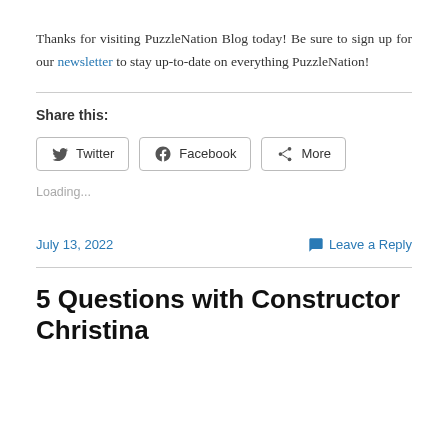Thanks for visiting PuzzleNation Blog today! Be sure to sign up for our newsletter to stay up-to-date on everything PuzzleNation!
Share this:
Twitter  Facebook  More
Loading...
July 13, 2022    Leave a Reply
5 Questions with Constructor Christina...